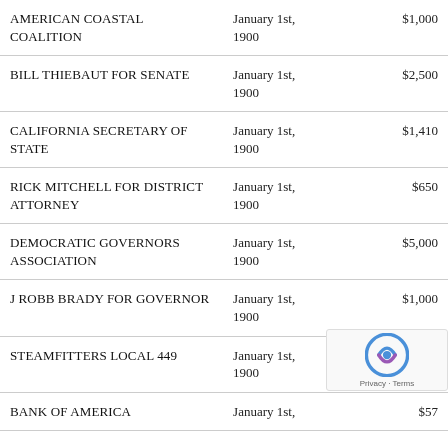| AMERICAN COASTAL COALITION | January 1st, 1900 | $1,000 |
| BILL THIEBAUT FOR SENATE | January 1st, 1900 | $2,500 |
| CALIFORNIA SECRETARY OF STATE | January 1st, 1900 | $1,410 |
| RICK MITCHELL FOR DISTRICT ATTORNEY | January 1st, 1900 | $650 |
| DEMOCRATIC GOVERNORS ASSOCIATION | January 1st, 1900 | $5,000 |
| J ROBB BRADY FOR GOVERNOR | January 1st, 1900 | $1,000 |
| STEAMFITTERS LOCAL 449 | January 1st, 1900 |  |
| BANK OF AMERICA | January 1st, | $57 |